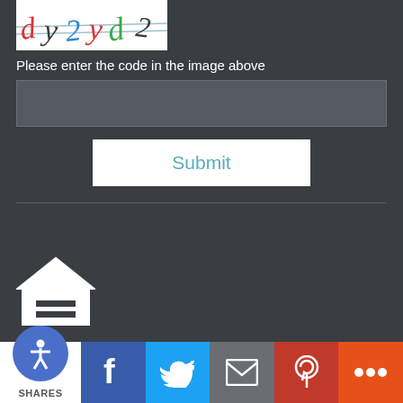[Figure (other): CAPTCHA image showing distorted characters dy2yd2]
Please enter the code in the image above
[Figure (other): Text input field for CAPTCHA code]
[Figure (other): Submit button]
[Figure (logo): Equal Housing Opportunity logo - house with equals sign]
EQUAL HOUSING
OPPORTUNITY
Copyright © Absolute Mortgage, Inc., Etrafficers, Inc and its licensors. All rights reserved.
Mortgage Websites designed and powered by Etrafficers, Inc.
[Figure (other): Social share bar with accessibility icon, Facebook, Twitter, Email, Pinterest, and More buttons. Shows SHARES label.]